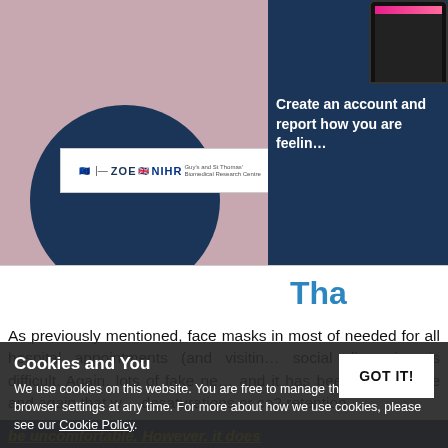[Figure (screenshot): Screenshot of ZOE / NIHR COVID app webpage. Left panel is pink/mauve with dark blue circle. Logo bar shows ZOE and NIHR Biomedical Research Centre logos on white background. Right panel is dark navy blue showing partial phone mockup and text 'Create an account and report how you are feeling']
Tha
As previously mentioned, face masks in most of needed for all hospital appointments (and visiting social distancing is difficult. Again, lots of fake ne and it has been proven time and again that w desaturations or co2 retention.
Cookies and You
We use cookies on this website. You are free to manage these via your browser settings at any time. For more about how we use cookies, please see our Cookie Policy.
GOT IT!
be uncomfortable. However, it does